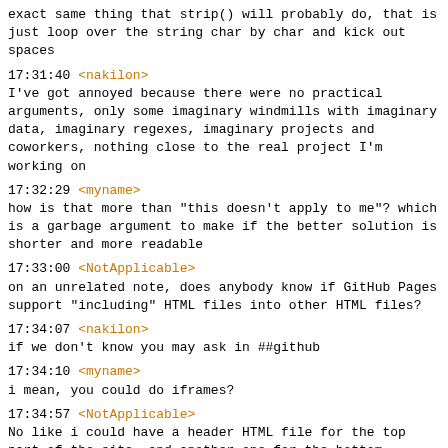exact same thing that strip() will probably do, that is just loop over the string char by char and kick out spaces
17:31:40 <nakilon>
I've got annoyed because there were no practical arguments, only some imaginary windmills with imaginary data, imaginary regexes, imaginary projects and coworkers, nothing close to the real project I'm working on
17:32:29 <myname>
how is that more than "this doesn't apply to me"? which is a garbage argument to make if the better solution is shorter and more readable
17:33:00 <NotApplicable>
on an unrelated note, does anybody know if GitHub Pages support "including" HTML files into other HTML files?
17:34:07 <nakilon>
if we don't know you may ask in ##github
17:34:10 <myname>
i mean, you could do iframes?
17:34:57 <NotApplicable>
No like i could have a header HTML file for the top part of the site, and another one for the bottom.
17:35:26 <myname>
what's wrong with iframes for that?
17:35:44 <nakilon>